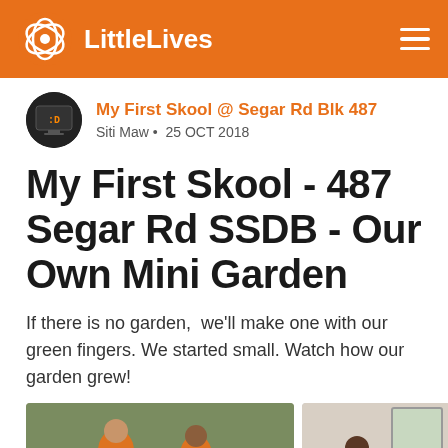LittleLives
My First Skool @ Segar Rd Blk 487
Siti Maw • 25 OCT 2018
My First Skool - 487 Segar Rd SSDB - Our Own Mini Garden
If there is no garden,  we'll make one with our green fingers. We started small. Watch how our garden grew!
[Figure (photo): Two children in orange shirts working on a gardening activity outdoors]
[Figure (photo): A child in an orange shirt doing a gardening activity near a wall]